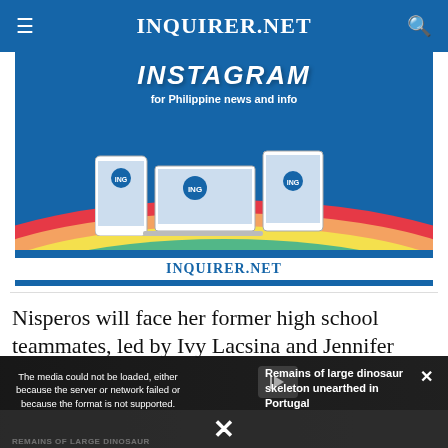INQUIRER.NET
[Figure (screenshot): Inquirer.net Instagram promotional banner showing devices (phone, laptop, tablet) with text 'INSTAGRAM for Philippine news and info' and 'INQUIRER.NET' below]
Nisperos will face her former high school teammates, led by Ivy Lacsina and Jennifer
[Figure (screenshot): Video player error overlay showing 'The media could not be loaded, either because the server or network failed or because the format is not supported.' with 'Remains of large dinosaur skeleton unearthed in Portugal' title and close button]
REMAINS OF LARGE DINOSAUR SKELETON UNEARTHED IN PORTUGAL